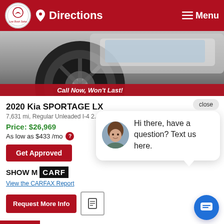Directions  Menu
[Figure (photo): Car wheel/tire close-up photo with 'Call Now, Won't Last!' banner overlay at bottom]
2020 Kia SPORTAGE LX
7,631 mi, Regular Unleaded I-4 2.4 L/144, Automatic, AWD
Price: $26,969
As low as $433 /mo
Get Approved
[Figure (screenshot): Chat popup with female avatar: 'Hi there, have a question? Text us here.' with close button]
[Figure (logo): CARFAX logo with SHOW ME text]
View the CARFAX Report
Request More Info